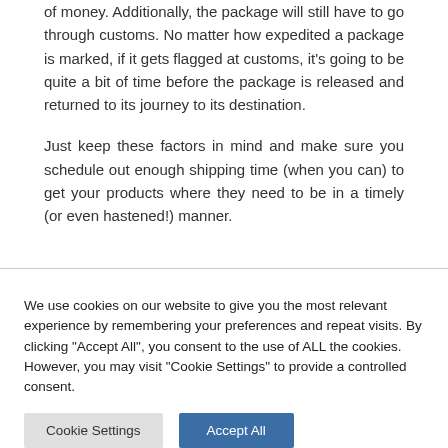of money. Additionally, the package will still have to go through customs. No matter how expedited a package is marked, if it gets flagged at customs, it's going to be quite a bit of time before the package is released and returned to its journey to its destination.
Just keep these factors in mind and make sure you schedule out enough shipping time (when you can) to get your products where they need to be in a timely (or even hastened!) manner.
We use cookies on our website to give you the most relevant experience by remembering your preferences and repeat visits. By clicking "Accept All", you consent to the use of ALL the cookies. However, you may visit "Cookie Settings" to provide a controlled consent.